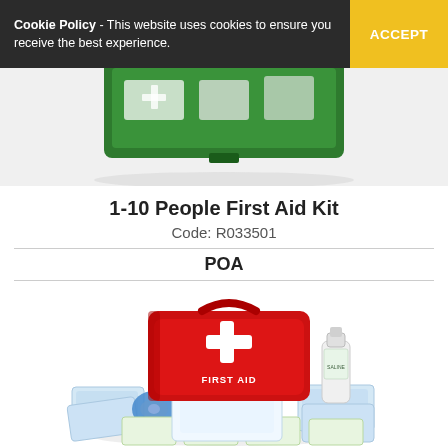Cookie Policy - This website uses cookies to ensure you receive the best experience. ACCEPT
[Figure (photo): Partial top view of a green first aid kit box with supplies visible inside, cropped at the top of the page.]
1-10 People First Aid Kit
Code: R033501
POA
[Figure (photo): Red plastic first aid kit case with white cross and 'FIRST AID' text, surrounded by various medical supplies including bandages, dressings, and a bottle.]